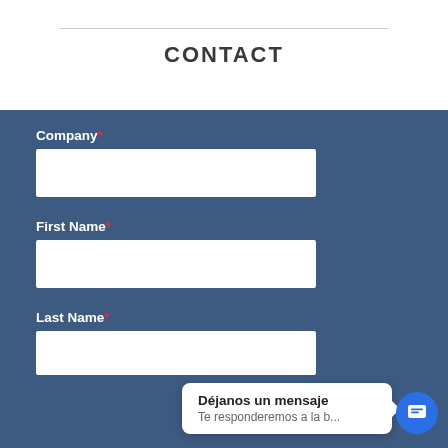CONTACT
Company*
First Name*
Last Name*
Déjanos un mensaje
Te responderemos a la b...